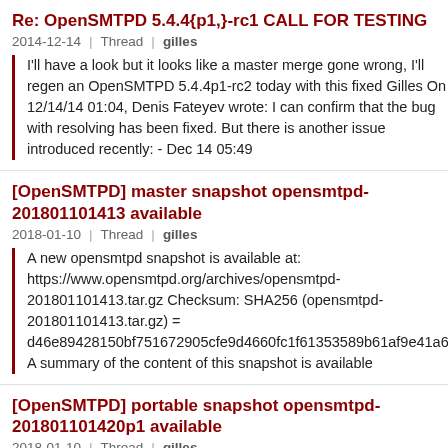Re: OpenSMTPD 5.4.4{p1,}-rc1 CALL FOR TESTING
2014-12-14  Thread  gilles
I'll have a look but it looks like a master merge gone wrong, I'll regen an OpenSMTPD 5.4.4p1-rc2 today with this fixed Gilles On 12/14/14 01:04, Denis Fateyev wrote: I can confirm that the bug with resolving has been fixed. But there is another issue introduced recently: - Dec 14 05:49
[OpenSMTPD] master snapshot opensmtpd-201801101413 available
2018-01-10  Thread  gilles
A new opensmtpd snapshot is available at: https://www.opensmtpd.org/archives/opensmtpd-201801101413.tar.gz Checksum: SHA256 (opensmtpd-201801101413.tar.gz) = d46e89428150bf751672905cfe9d4660fc1f61353589b61af9e41a6 A summary of the content of this snapshot is available
[OpenSMTPD] portable snapshot opensmtpd-201801101420p1 available
2018-01-10  Thread  gilles
A new opensmtpd portable snapshot is available at: https://www.opensmtpd.org/archives/opensmtpd-